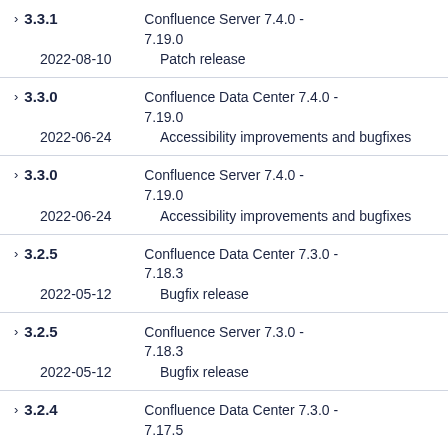3.3.1 | Confluence Server 7.4.0 - 7.19.0 | 2022-08-10 | Patch release
3.3.0 | Confluence Data Center 7.4.0 - 7.19.0 | 2022-06-24 | Accessibility improvements and bugfixes
3.3.0 | Confluence Server 7.4.0 - 7.19.0 | 2022-06-24 | Accessibility improvements and bugfixes
3.2.5 | Confluence Data Center 7.3.0 - 7.18.3 | 2022-05-12 | Bugfix release
3.2.5 | Confluence Server 7.3.0 - 7.18.3 | 2022-05-12 | Bugfix release
3.2.4 | Confluence Data Center 7.3.0 - 7.17.5